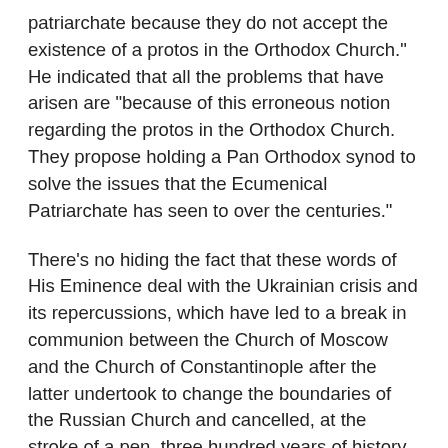patriarchate because they do not accept the existence of a protos in the Orthodox Church." He indicated that all the problems that have arisen are "because of this erroneous notion regarding the protos in the Orthodox Church. They propose holding a Pan Orthodox synod to solve the issues that the Ecumenical Patriarchate has seen to over the centuries."
There's no hiding the fact that these words of His Eminence deal with the Ukrainian crisis and its repercussions, which have led to a break in communion between the Church of Moscow and the Church of Constantinople after the latter undertook to change the boundaries of the Russian Church and cancelled, at the stroke of a pen, three hundred years of history, ignoring the existence of the legitimate Church and granting-- in an act without precedent in the history of the Church-- autocephaly to schismatics who do not have apostolic succession. He also criticizes the position of most of the local churches which have called for holding a Pan Orthodox Synod to find a solution for this issue and the churches which have rejected the theory of primacy "without equals" and accept the primacy of the Patriarch of